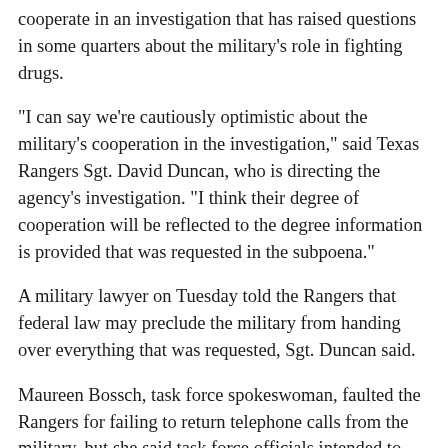cooperate in an investigation that has raised questions in some quarters about the military's role in fighting drugs.
"I can say we're cautiously optimistic about the military's cooperation in the investigation," said Texas Rangers Sgt. David Duncan, who is directing the agency's investigation. "I think their degree of cooperation will be reflected to the degree information is provided that was requested in the subpoena."
A military lawyer on Tuesday told the Rangers that federal law may preclude the military from handing over everything that was requested, Sgt. Duncan said.
Maureen Bossch, task force spokeswoman, faulted the Rangers for failing to return telephone calls from the military, but she said task force officials intended to cooperate fully.
"The military is committed to assisting law enforcement in their investigation," she said. "We're not trying to avoid anything."
But, echoing the comments of military officials at the Marines' base in Camp Pendleton, Calif., Ms. Bossch said the military officials believed they were cooperating fully.